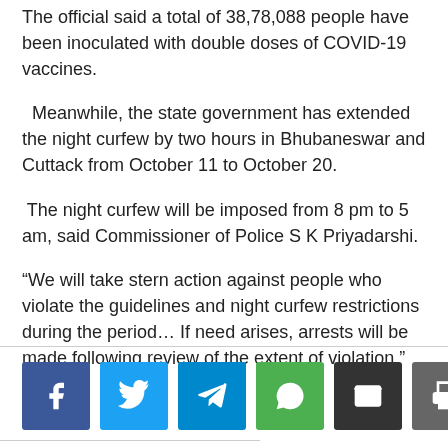The official said a total of 38,78,088 people have been inoculated with double doses of COVID-19 vaccines.
Meanwhile, the state government has extended the night curfew by two hours in Bhubaneswar and Cuttack from October 11 to October 20.
The night curfew will be imposed from 8 pm to 5 am, said Commissioner of Police S K Priyadarshi.
“We will take stern action against people who violate the guidelines and night curfew restrictions during the period… If need arises, arrests will be made following review of the extent of violation,” he said.
[Figure (infographic): Social sharing buttons: Facebook (blue), Twitter (light blue), Telegram (blue), WhatsApp (green), Email (dark gray), Print (gray)]